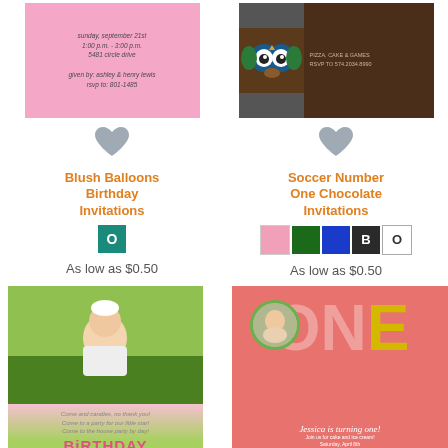[Figure (photo): Pink birthday invitation card with cursive text: sunday, september 21st, 1:00 p.m. - 3:00 p.m., 5481 circle drive, given by: ashley & henry lewis, rsvp to: 801-1485]
[Figure (photo): Brown chocolate birthday invitation with owl illustration and party details text]
[Figure (illustration): Gray heart icon / favorite button]
Blush Balloons Birthday Invitations
[Figure (illustration): Teal/green square color swatch with letter O]
As low as $0.50
[Figure (illustration): Gray heart icon / favorite button]
Soccer Number One Chocolate Invitations
[Figure (illustration): Color swatches: pink, dark green, blue, B swatch, O swatch]
As low as $0.50
[Figure (photo): Birthday invitation card showing a baby on grass with BIRTHDAY text and party details]
[Figure (photo): Pink ONE birthday invitation with baby photo in O letter circle, Jessica is turning one text, join us for cake and ice cream, Saturday April 8th, 2 pm until 2 pm]